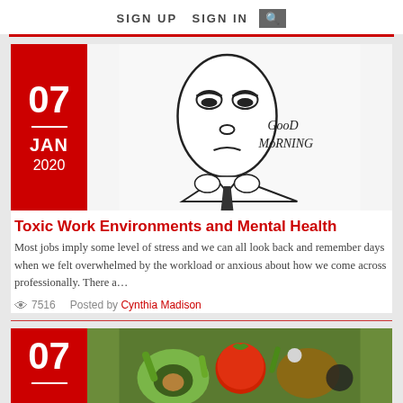SIGN UP   SIGN IN   🔍
[Figure (illustration): Cartoon illustration of a tired-looking person in a suit with text 'Good Morning' beside them]
Toxic Work Environments and Mental Health
Most jobs imply some level of stress and we can all look back and remember days when we felt overwhelmed by the workload or anxious about how we come across professionally. There a…
👁 7516   Posted by Cynthia Madison
[Figure (photo): Photo of fresh vegetables and fruits including tomatoes, avocado, and other produce]